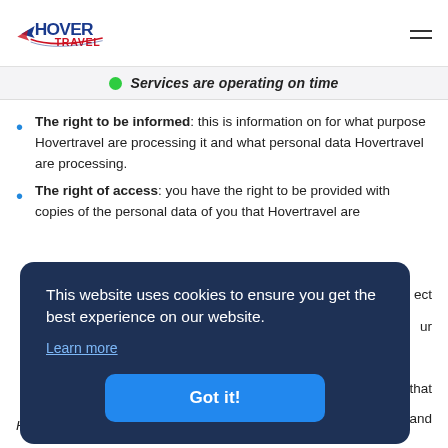Hover Travel logo and navigation menu
Services are operating on time
The right to be informed: this is information on for what purpose Hovertravel are processing it and what personal data Hovertravel are processing.
The right of access: you have the right to be provided with copies of the personal data of you that Hovertravel are [processing. You also have the right to direct Hovertravel to correct your personal data...]
This website uses cookies to ensure you get the best experience on our website.
Learn more
Got it!
Hovertravel will fix it.